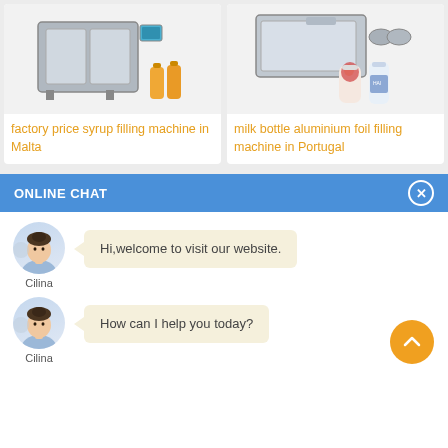[Figure (photo): Product card showing factory price syrup filling machine with orange bottles]
factory price syrup filling machine in Malta
[Figure (photo): Product card showing milk bottle aluminium foil filling machine with decorated bottles]
milk bottle aluminium foil filling machine in Portugal
ONLINE CHAT
[Figure (illustration): Avatar of Cilina - a woman in blue shirt]
Cilina
Hi,welcome to visit our website.
[Figure (illustration): Avatar of Cilina - a woman in blue shirt]
Cilina
How can I help you today?